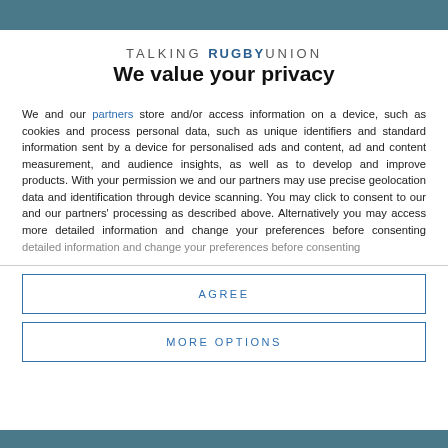[Figure (photo): Top strip of a sports photo showing a rugby player in teal/green jersey, partially visible at top of page]
TALKING RUGBY UNION
We value your privacy
We and our partners store and/or access information on a device, such as cookies and process personal data, such as unique identifiers and standard information sent by a device for personalised ads and content, ad and content measurement, and audience insights, as well as to develop and improve products. With your permission we and our partners may use precise geolocation data and identification through device scanning. You may click to consent to our and our partners' processing as described above. Alternatively you may access more detailed information and change your preferences before consenting
AGREE
MORE OPTIONS
[Figure (photo): Bottom strip of rugby photo partially visible at bottom of page]